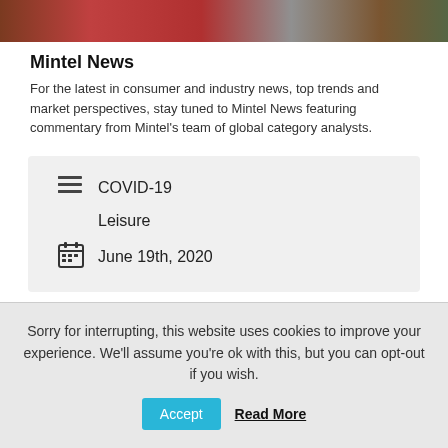[Figure (photo): Top banner photo showing outdoor scene with reddish/bicycle colors]
Mintel News
For the latest in consumer and industry news, top trends and market perspectives, stay tuned to Mintel News featuring commentary from Mintel's team of global category analysts.
COVID-19
Leisure
June 19th, 2020
[Figure (infographic): Social share buttons: Twitter (blue), LinkedIn (blue), Facebook (dark blue), WhatsApp (green)]
Sorry for interrupting, this website uses cookies to improve your experience. We'll assume you're ok with this, but you can opt-out if you wish.
Accept   Read More